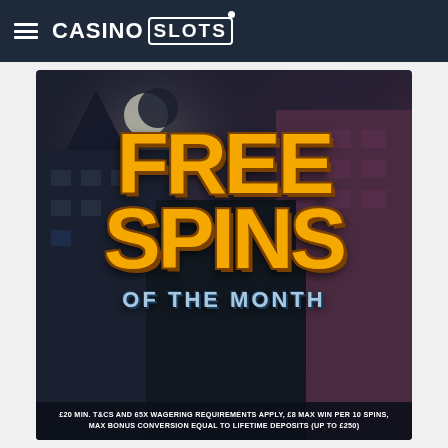CASINO SLOTS
[Figure (illustration): Promotional banner image for 'Free Spins of the Month' with large gold stylized text on a dark spooky background featuring haunted buildings. Bottom disclaimer: £20 MIN. T&CS AND 65X WAGERING REQUIREMENTS APPLY, £8 MAX WIN PER 10 SPINS, MAX BONUS CONVERSION EQUAL TO LIFETIME DEPOSITS (UP TO £250)]